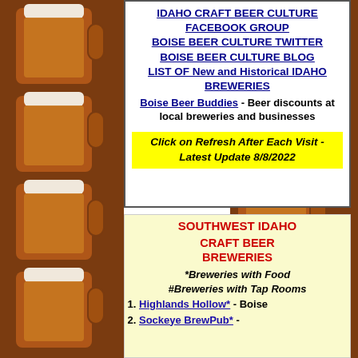[Figure (photo): Beer mug photos tiled on left and right background columns]
IDAHO CRAFT BEER CULTURE FACEBOOK GROUP
BOISE BEER CULTURE TWITTER
BOISE BEER CULTURE BLOG
LIST OF New and Historical IDAHO BREWERIES
Boise Beer Buddies - Beer discounts at local breweries and businesses
Click on Refresh After Each Visit - Latest Update 8/8/2022
SOUTHWEST IDAHO
CRAFT BEER BREWERIES
*Breweries with Food
#Breweries with Tap Rooms
Highlands Hollow* - Boise
Sockeye BrewPub* -